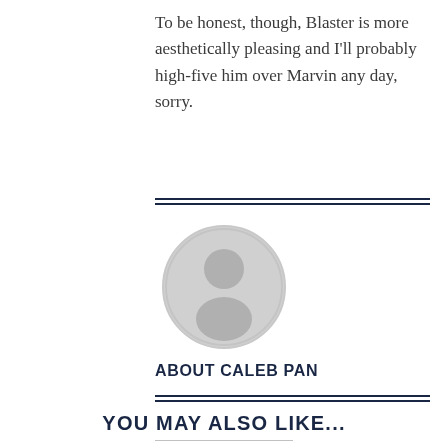To be honest, though, Blaster is more aesthetically pleasing and I'll probably high-five him over Marvin any day, sorry.
[Figure (illustration): Circular default avatar placeholder with grey silhouette of a person on a light grey background, outlined with a light grey circle border.]
ABOUT CALEB PAN
YOU MAY ALSO LIKE...